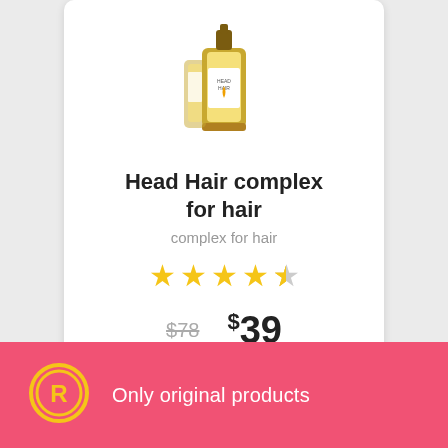[Figure (photo): Product bottle of Head Hair complex for hair, amber glass dropper bottle with yellow label]
Head Hair complex for hair
complex for hair
[Figure (other): Star rating: 4.5 out of 5 stars (4 full yellow stars and 1 half yellow/gray star)]
$78  $39
VIEW
Only original products